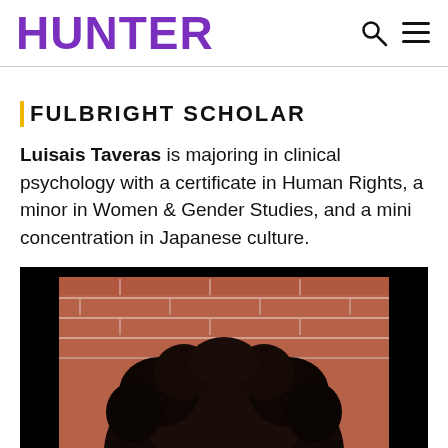HUNTER
FULBRIGHT SCHOLAR
Luisais Taveras is majoring in clinical psychology with a certificate in Human Rights, a minor in Women & Gender Studies, and a mini concentration in Japanese culture.
[Figure (photo): Portrait photo of Luisais Taveras with curly hair, in front of a brick wall, with black border framing around the image.]